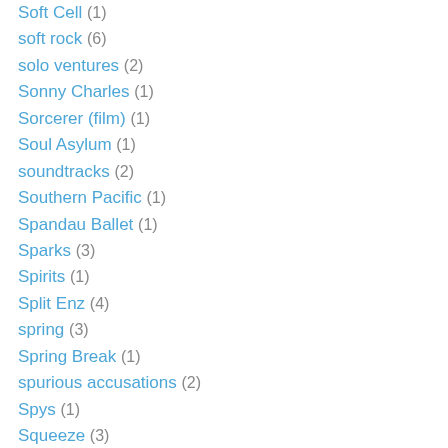Soft Cell (1)
soft rock (6)
solo ventures (2)
Sonny Charles (1)
Sorcerer (film) (1)
Soul Asylum (1)
soundtracks (2)
Southern Pacific (1)
Spandau Ballet (1)
Sparks (3)
Spirits (1)
Split Enz (4)
spring (3)
Spring Break (1)
spurious accusations (2)
Spys (1)
Squeeze (3)
Squirrel Nut Zippers (1)
Stan Ridgway (3)
Star Trek (television) (1)